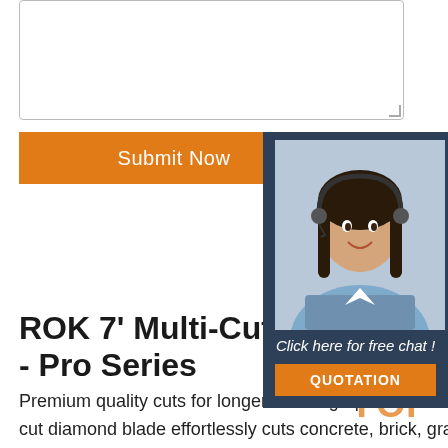[Figure (other): Text input textarea with resize handle]
Submit Now
24/7 Online
[Figure (photo): Customer service woman wearing headset, smiling, with chat panel showing 'Click here for free chat!' and QUOTATION button]
ROK 7' Multi-Cut Diamond - Pro Series
Premium quality cuts for longer. This high-performance long-life 7 inch multi-cut diamond blade effortlessly cuts concrete, brick, granite, steel, cast iron, sheet metal, rebar, PVC pipe, fiberglass and most other construction materials which is ideal for demolition work. Laser-welded segments deliver a stronger cut and more durability than standard sintered blades.